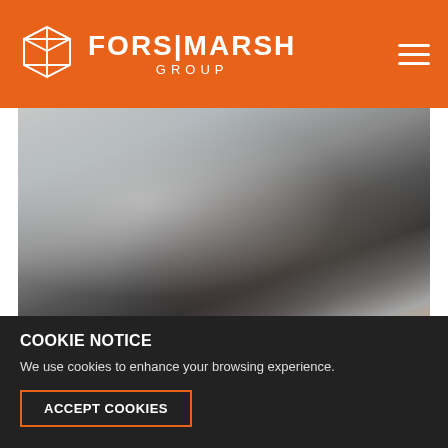FORS MARSH GROUP
[Figure (photo): Blurred background photo, abstract office or person, muted grays and browns]
AFFINITY GROUPS EMBODY A PEOPLE-FIRST CULTURE AT FORS MARSH GROUP–NAMED A TOP WORKPLACE 2022 BY THE WASHINGTON
COOKIE NOTICE
We use cookies to enhance your browsing experience.
ACCEPT COOKIES